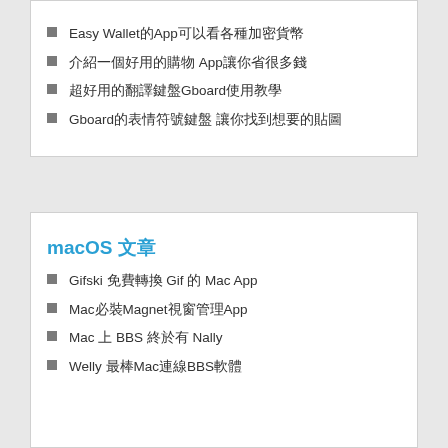Easy Wallet的App可以看各種加密貨幣
介紹一個好用的購物 App讓你省很多錢
超好用的翻譯鍵盤Gboard使用教學
Gboard的表情符號鍵盤 讓你找到想要的貼圖
macOS 文章
Gifski 免費轉換 Gif 的 Mac App
Mac必裝Magnet視窗管理App
Mac 上 BBS 終於有 Nally
Welly 最棒Mac連線BBS軟體